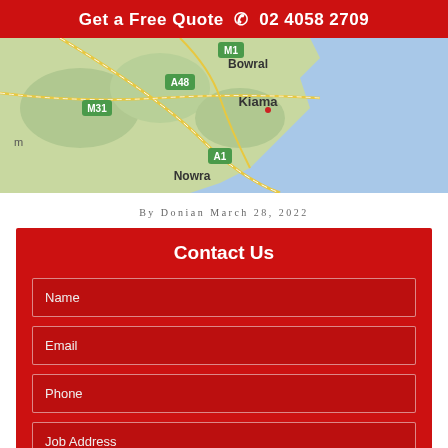Get a Free Quote 📞 02 4058 2709
[Figure (map): Google Maps view showing Kiama, Nowra, Bowral region in New South Wales, Australia with roads M1, A48, M31, A1 marked]
By Donian March 28, 2022
Contact Us
Name
Email
Phone
Job Address